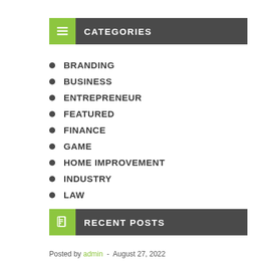CATEGORIES
BRANDING
BUSINESS
ENTREPRENEUR
FEATURED
FINANCE
GAME
HOME IMPROVEMENT
INDUSTRY
LAW
RECENT POSTS
Posted by admin - August 27, 2022